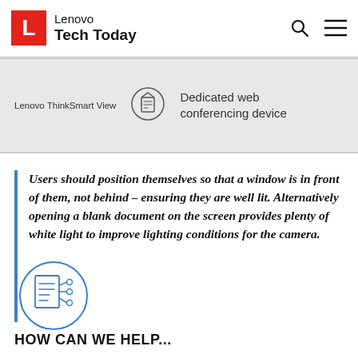Lenovo Tech Today
| Product | Icon | Description |
| --- | --- | --- |
| Lenovo ThinkSmart View |  | Dedicated web conferencing device |
Users should position themselves so that a window is in front of them, not behind – ensuring they are well lit. Alternatively opening a blank document on the screen provides plenty of white light to improve lighting conditions for the camera.
[Figure (illustration): A circular icon showing a stylized circuit board / document with connection nodes]
HOW CAN WE HELP...